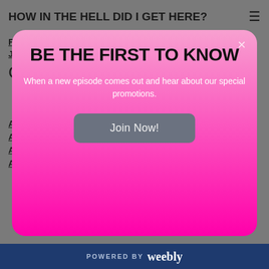HOW IN THE HELL DID I GET HERE?
February 2019
January 2019
Categories
All
[Figure (screenshot): Modal popup with pink gradient background. Title: BE THE FIRST TO KNOW. Subtitle: When a new episode comes out and hear about our special promotions. Button: Join Now!]
Adopting A Come
Adventure Travel
Airplane
Alarms
POWERED BY weebly